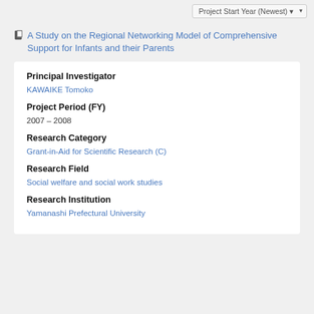Project Start Year (Newest)
A Study on the Regional Networking Model of Comprehensive Support for Infants and their Parents
Principal Investigator
KAWAIKE Tomoko
Project Period (FY)
2007 – 2008
Research Category
Grant-in-Aid for Scientific Research (C)
Research Field
Social welfare and social work studies
Research Institution
Yamanashi Prefectural University